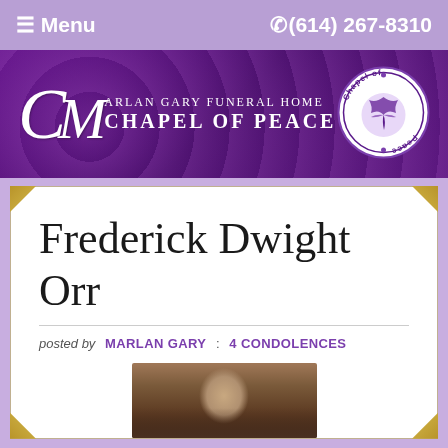≡ Menu   ✆(614) 267-8310
[Figure (logo): Marlan Gary Funeral Home Chapel of Peace logo with cursive CM initials and Chapel of Peace seal/badge on the right]
Frederick Dwight Orr
posted by  MARLAN GARY  :  4 CONDOLENCES
[Figure (photo): Photo of Frederick Dwight Orr, a man with a shaved head visible from the shoulders up]